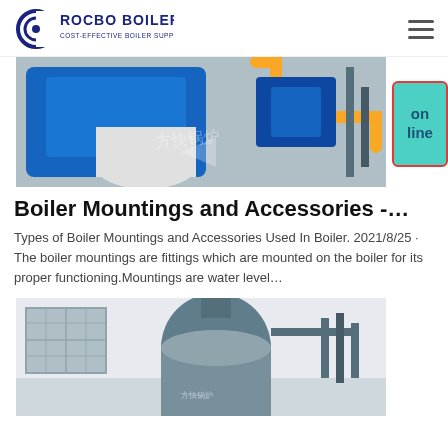ROCBO BOILER — COST-EFFECTIVE BOILER SUPPLIER
[Figure (photo): Industrial boiler equipment in a facility — a large blue boiler with yellow piping and associated machinery, with Chinese text watermark '方快锅炉']
Boiler Mountings and Accessories -…
Types of Boiler Mountings and Accessories Used In Boiler. 2021/8/25 · The boiler mountings are fittings which are mounted on the boiler for its proper functioning.Mountings are water level…
[Figure (photo): Industrial boiler equipment in an indoor facility — a vertical cylindrical boiler with pipes and fittings, Chinese text watermark '方快锅炉']